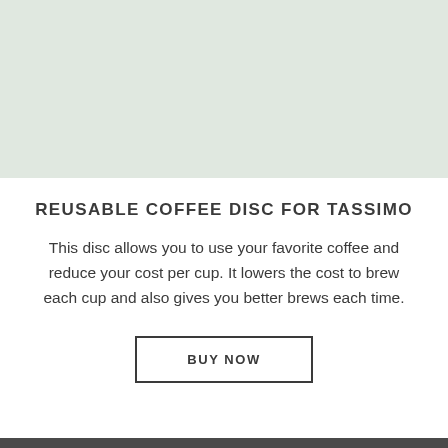[Figure (photo): Light sage/mint green rectangular image placeholder area at the top of the page, likely showing a product image of a reusable coffee disc for Tassimo.]
REUSABLE COFFEE DISC FOR TASSIMO
This disc allows you to use your favorite coffee and reduce your cost per cup. It lowers the cost to brew each cup and also gives you better brews each time.
BUY NOW